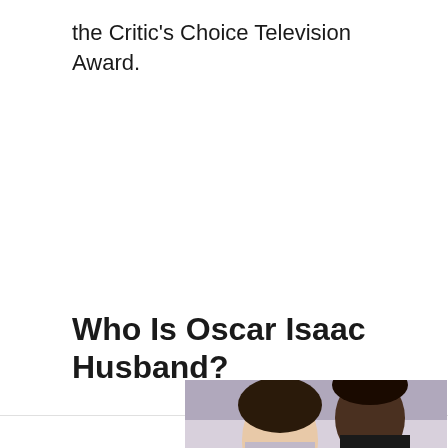the Critic's Choice Television Award.
Who Is Oscar Isaac Husband?
[Figure (photo): Photo of a couple, a woman with light skin and dark hair and a man with dark hair, partial view cropped at bottom of page, against a purple/grey background.]